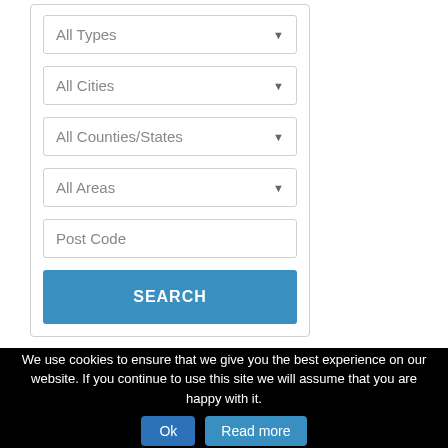[Figure (screenshot): A search form UI with four dropdown fields (All Types, All Cities, All Counties/States, All Areas), a Post Code text input, and a SEARCH button, all within a bordered container.]
We use cookies to ensure that we give you the best experience on our website. If you continue to use this site we will assume that you are happy with it.
Ok
Read more